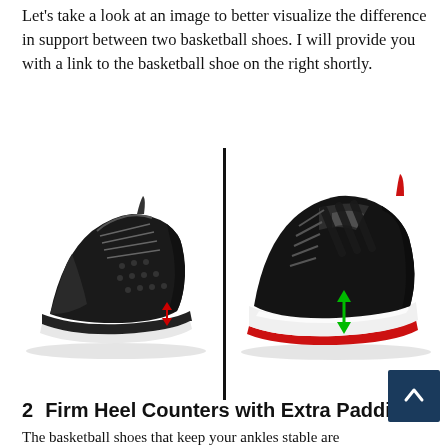Let's take a look at an image to better visualize the difference in support between two basketball shoes. I will provide you with a link to the basketball shoe on the right shortly.
[Figure (photo): Side-by-side comparison of two basketball shoes divided by a vertical black line. Left shoe: black mid-top basketball shoe with a small red double-headed vertical arrow at the heel indicating thin cushioning. Right shoe: black and red Adidas basketball shoe with a large green double-headed vertical arrow pointing to the thick white midsole/cushioning at the heel.]
2   Firm Heel Counters with Extra Padding
The basketball shoes that keep your ankles stable are...